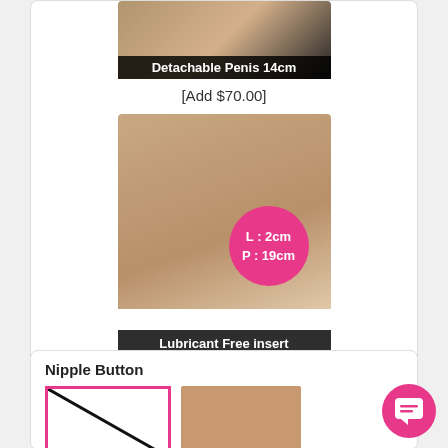[Figure (photo): Product photo showing detachable item with black label bar at bottom reading 'Detachable Penis 14cm']
[Add $70.00]
[Figure (photo): Product photo with pink circle overlay showing 'L : 2cm / P : 19cm' and black label bar at bottom reading 'Lubricant Free insert']
Nipple Button
[Figure (photo): Thumbnail with pink border and diagonal black line (no image placeholder)]
[Figure (photo): Skin-toned thumbnail image]